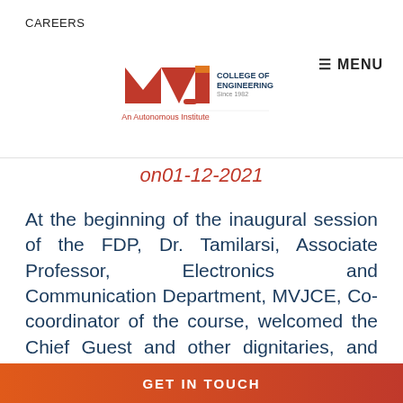CAREERS
[Figure (logo): MVJ College of Engineering logo - An Autonomous Institute, Since 1982]
≡ MENU
on01-12-2021
At the beginning of the inaugural session of the FDP, Dr. Tamilarsi, Associate Professor, Electronics and Communication Department, MVJCE, Co-coordinator of the course, welcomed the Chief Guest and other dignitaries, and briefly introduced the course to the participants. She highlighted the need for organizing such courses, to enable the participants to learn new technologies. The co-ordinator briefly
GET IN TOUCH